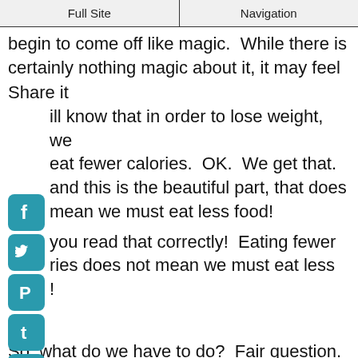Full Site | Navigation
begin to come off like magic. While there is certainly nothing magic about it, it may feel
Share it
[Figure (infographic): Column of social media share icons: Facebook, Twitter, Pinterest, Tumblr, Reddit, WhatsApp, Messenger]
ill know that in order to lose weight, we eat fewer calories. OK. We get that. and this is the beautiful part, that does mean we must eat less food!
you read that correctly! Eating fewer ries does not mean we must eat less !
So, what do we have to do? Fair question. Here's the answer. To reduce our caloric intake while not eating less food means all